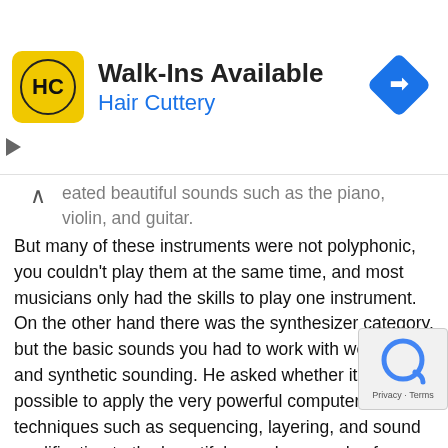[Figure (other): Hair Cuttery advertisement banner with yellow logo, 'Walk-Ins Available' headline, 'Hair Cuttery' subtitle in blue, and a blue navigation icon on the right]
eated beautiful sounds such as the piano, violin, and guitar. But many of these instruments were not polyphonic, you couldn't play them at the same time, and most musicians only had the skills to play one instrument. On the other hand there was the synthesizer category, but the basic sounds you had to work with were thin and synthetic sounding. He asked whether it would be possible to apply the very powerful computer control techniques such as sequencing, layering, and sound modification to the beautiful complex sounds of acoustic instruments. I felt that by applying the techniques of advanced signal processing and pattern recognition that this would be possible. We agreed to work together, and with Stevie Wonder as musical advisor, I founded Kurzweil Music Systems on July 1, 1982.
Q• Do you have any thoughts about today's technology, with regard to making music (Pro Tools, GarageBand, etc.) do you think the development of your instruments is a link to this ongoing process?
Kurzweil: Our outlet Kurzweil Music Systems...still is t...